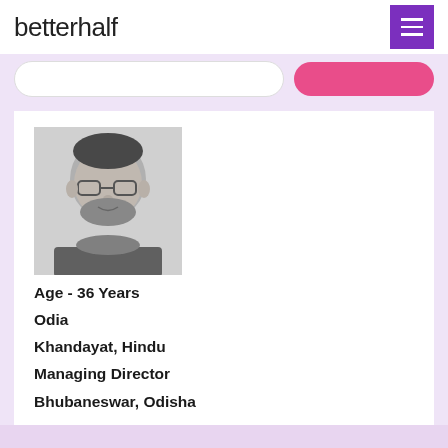betterhalf
[Figure (photo): Black and white photo of a man with glasses and beard, smiling slightly, profile picture on a matrimonial website]
Age - 36 Years
Odia
Khandayat, Hindu
Managing Director
Bhubaneswar, Odisha